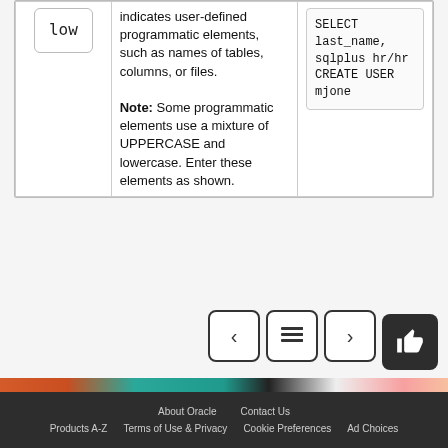| Typeface | Description | Example |
| --- | --- | --- |
| low | indicates user-defined programmatic elements, such as names of tables, columns, or files.

Note: Some programmatic elements use a mixture of UPPERCASE and lowercase. Enter these elements as shown. | SELECT last_name,
sqlplus hr/hr
CREATE USER mjone |
[Figure (other): Navigation buttons: previous (left arrow), table of contents (grid icon), next (right arrow), and a thumbs-up feedback button]
[Figure (illustration): Colorful decorative banner strip with orange, teal, dark, and light sections]
About Oracle   Contact Us   Products A-Z   Terms of Use & Privacy   Cookie Preferences   Ad Choices